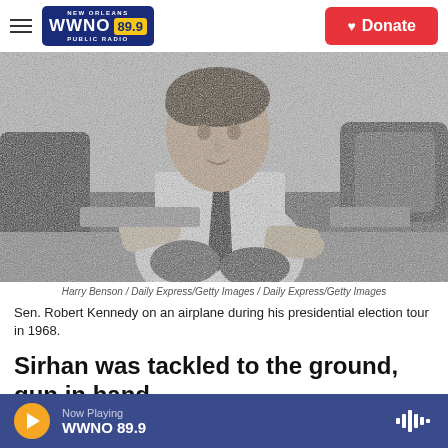WWNO 89.9 New Orleans Public Radio — Donate
[Figure (photo): Black and white photo of Sen. Robert Kennedy sitting on an airplane floor during his presidential election tour in 1968, wearing a white shirt and dark tie, leaning forward.]
Harry Benson / Daily Express/Getty Images / Daily Express/Getty Images
Sen. Robert Kennedy on an airplane during his presidential election tour in 1968.
Sirhan was tackled to the ground, gun in hand,
Now Playing WWNO 89.9